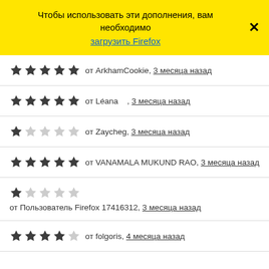Чтобы использовать эти дополнения, вам необходимо загрузить Firefox
★★★★★ от ArkhamCookie, 3 месяца назад
★★★★★ от Léana, 3 месяца назад
★☆☆☆☆ от Zaycheg, 3 месяца назад
★★★★★ от VANAMALA MUKUND RAO, 3 месяца назад
★☆☆☆☆ от Пользователь Firefox 17416312, 3 месяца назад
★★★★☆ от folgoris, 4 месяца назад